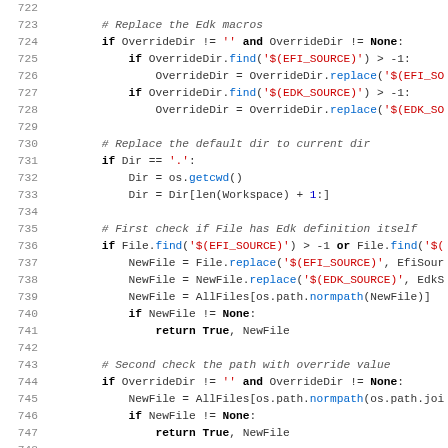[Figure (screenshot): Python source code listing, lines 722-754, showing file path replacement logic using EFI_SOURCE and EDK_SOURCE macros]